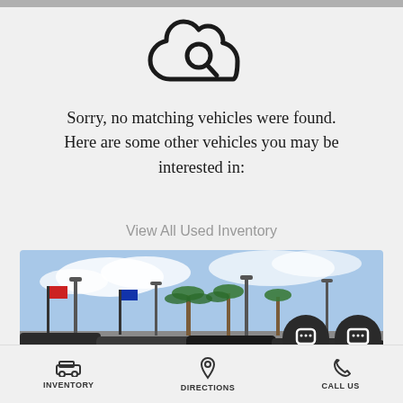[Figure (illustration): Cloud icon with magnifying glass inside, drawn in outline style]
Sorry, no matching vehicles were found. Here are some other vehicles you may be interested in:
View All Used Inventory
[Figure (photo): Car dealership lot with palm trees, light poles, flags, and cars parked under a partly cloudy sky. Two circular dark chat/SMS buttons overlay the bottom-right of the image.]
INVENTORY   DIRECTIONS   CALL US